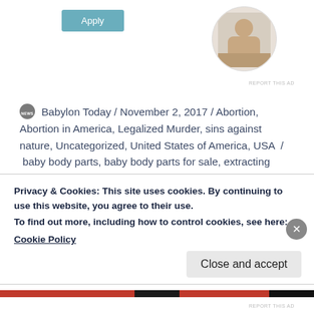[Figure (photo): Circular profile photo of a man thinking, resting his chin on his hand]
REPORT THIS AD
Babylon Today / November 2, 2017 / Abortion, Abortion in America, Legalized Murder, sins against nature, Uncategorized, United States of America, USA / baby body parts, baby body parts for sale, extracting body parts from aborted babies, fetal tissue transfer programs, Harvard buying aborted baby body parts, legalized murder in the United States, murder, planned parenthood, selling body parts of dead babies,
Privacy & Cookies: This site uses cookies. By continuing to use this website, you agree to their use.
To find out more, including how to control cookies, see here:
Cookie Policy
Close and accept